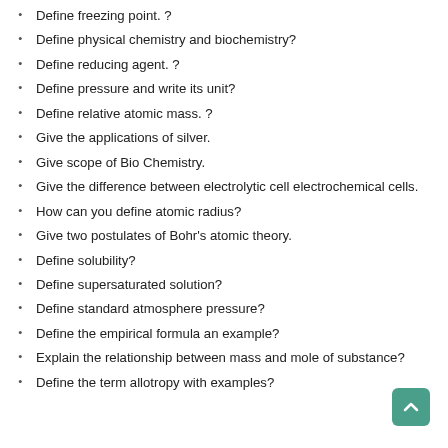Define freezing point. ?
Define physical chemistry and biochemistry?
Define reducing agent. ?
Define pressure and write its unit?
Define relative atomic mass. ?
Give the applications of silver.
Give scope of Bio Chemistry.
Give the difference between electrolytic cell electrochemical cells.
How can you define atomic radius?
Give two postulates of Bohr's atomic theory.
Define solubility?
Define supersaturated solution?
Define standard atmosphere pressure?
Define the empirical formula an example?
Explain the relationship between mass and mole of substance?
Define the term allotropy with examples?